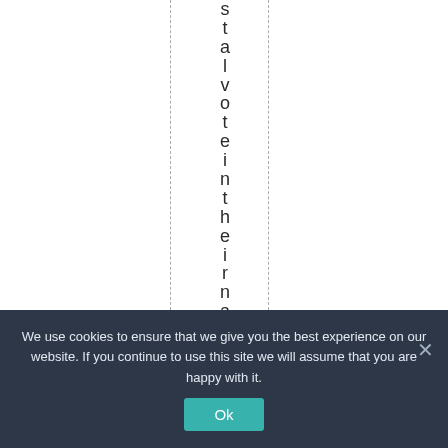stalvoteintheirnam
We use cookies to ensure that we give you the best experience on our website. If you continue to use this site we will assume that you are happy with it.